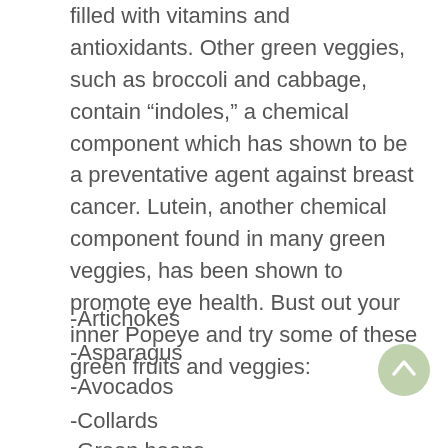filled with vitamins and antioxidants. Other green veggies, such as broccoli and cabbage, contain “indoles,” a chemical component which has shown to be a preventative agent against breast cancer. Lutein, another chemical component found in many green veggies, has been shown to promote eye health. Bust out your inner Popeye and try some of these green fruits and veggies:
-Artichokes
-Asparagus
-Avocados
-Collards
-Green beans